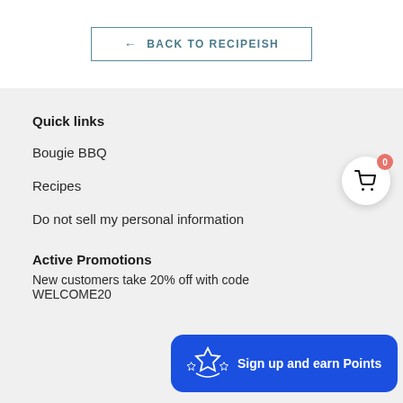← BACK TO RECIPEISH
Quick links
Bougie BBQ
Recipes
Do not sell my personal information
Active Promotions
New customers take 20% off with code WELCOME20
Sign up and earn Points